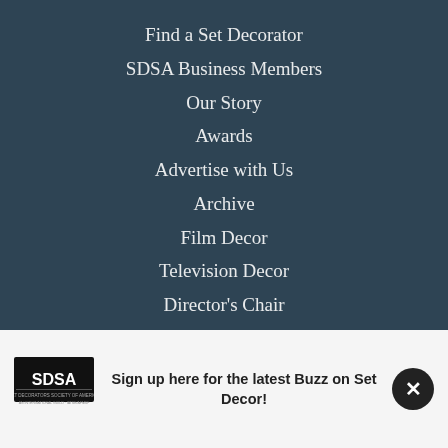Find a Set Decorator
SDSA Business Members
Our Story
Awards
Advertise with Us
Archive
Film Decor
Television Decor
Director's Chair
Sign up here for the latest Buzz on Set Decor!